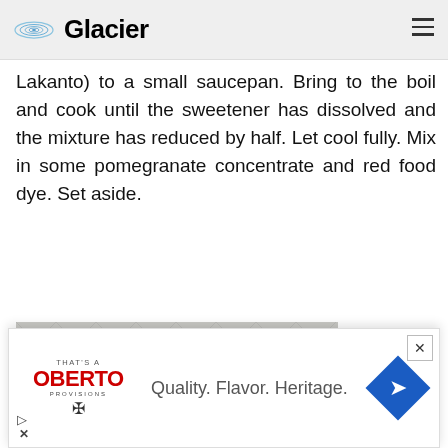Glacier
Lakanto) to a small saucepan. Bring to the boil and cook until the sweetener has dissolved and the mixture has reduced by half. Let cool fully. Mix in some pomegranate concentrate and red food dye. Set aside.
[Figure (photo): Photo showing a glass jar, a dark bottle with red cap and red label, and a white bottle, against a tile background. Watermark: stepawayfrommthecards.com]
[Figure (screenshot): Advertisement for Oberto brand. Text: Quality. Flavor. Heritage. Features Oberto logo with bird graphic and blue diamond navigation icon.]